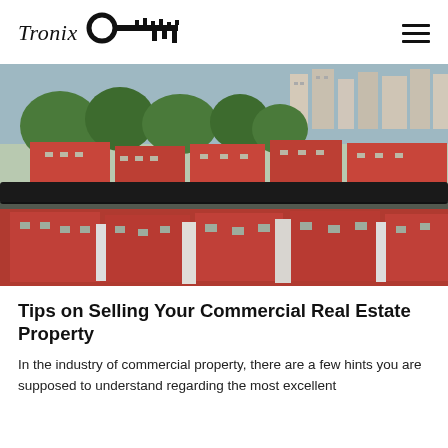Tronix [logo with key icon] [hamburger menu]
[Figure (photo): Aerial view of Singapore residential buildings with red rooftops and green trees, shot from a balcony with a dark railing visible in the middle of the image.]
Tips on Selling Your Commercial Real Estate Property
In the industry of commercial property, there are a few hints you are supposed to understand regarding the most excellent...